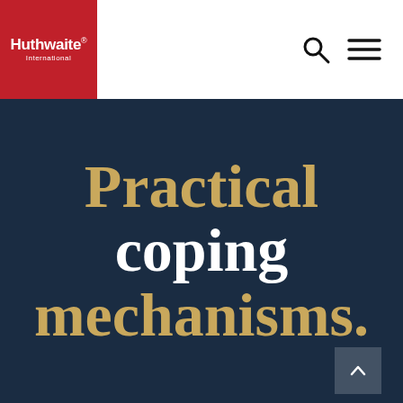[Figure (logo): Huthwaite International logo: white text on red background square]
[Figure (other): Navigation icons: search magnifying glass and hamburger menu lines]
Practical coping mechanisms.
[Figure (other): Scroll up arrow button in dark overlay box at bottom right]